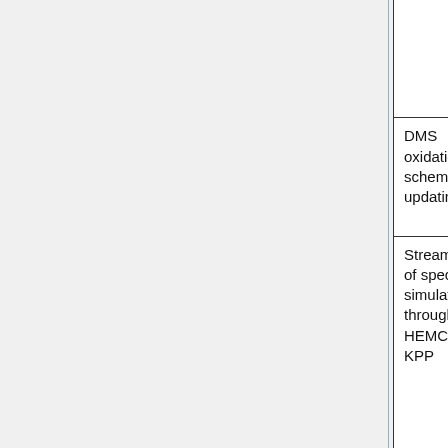|  | (MIT)
Jen Kaiser (GIT)
Yuxuan Wang (UH) |  |  |
| DMS oxidation scheme updating | Becky Alexander (UW)
Qianjie Chen (UW) | Science |  |
| Streamlining of specialty simulations through HEMCO and KPP | GCST
Chris Holmes (FSU)
Colin Thackray for POPs (Harvard)
Peter Ivatt ... | Science |  |